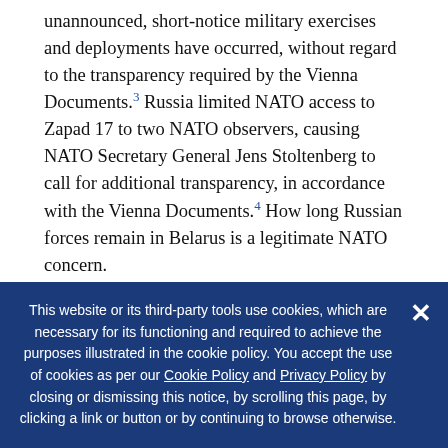unannounced, short-notice military exercises and deployments have occurred, without regard to the transparency required by the Vienna Documents.³ Russia limited NATO access to Zapad 17 to two NATO observers, causing NATO Secretary General Jens Stoltenberg to call for additional transparency, in accordance with the Vienna Documents.⁴ How long Russian forces remain in Belarus is a legitimate NATO concern.
All along NATO's eastern flank, including the Black Sea region, Russia's deployment of integrated,
This website or its third-party tools use cookies, which are necessary for its functioning and required to achieve the purposes illustrated in the cookie policy. You accept the use of cookies as per our Cookie Policy and Privacy Policy by closing or dismissing this notice, by scrolling this page, by clicking a link or button or by continuing to browse otherwise.